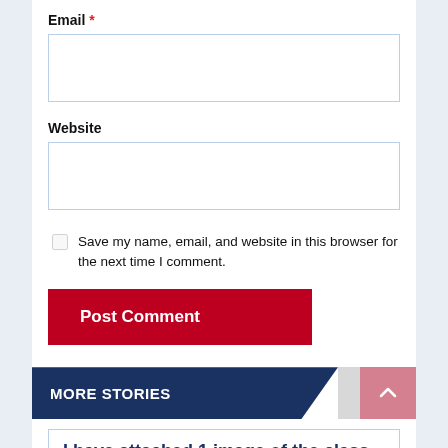Email *
[Figure (screenshot): Empty email input text field with light blue border]
Website
[Figure (screenshot): Empty website input text field with light blue border]
Save my name, email, and website in this browser for the next time I comment.
[Figure (screenshot): Red 'Post Comment' button]
MORE STORIES
I have attached 1 image of the class